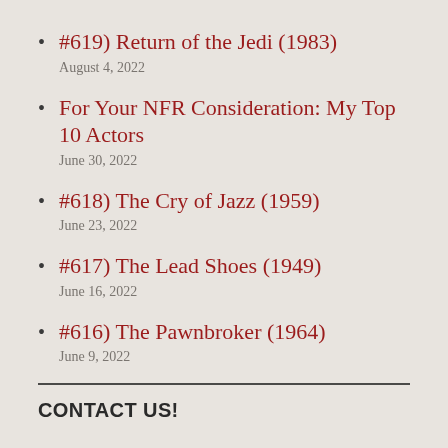#619) Return of the Jedi (1983)
August 4, 2022
For Your NFR Consideration: My Top 10 Actors
June 30, 2022
#618) The Cry of Jazz (1959)
June 23, 2022
#617) The Lead Shoes (1949)
June 16, 2022
#616) The Pawnbroker (1964)
June 9, 2022
CONTACT US!